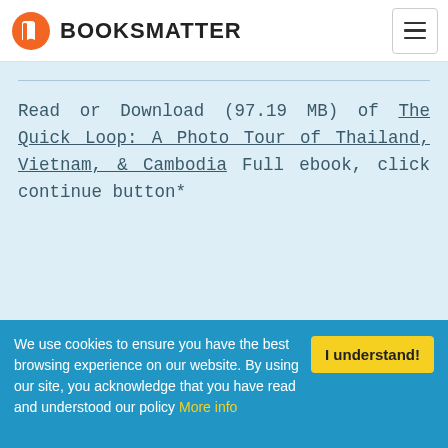BOOKSMATTER
Read or Download (97.19 MB) of The Quick Loop: A Photo Tour of Thailand, Vietnam, & Cambodia Full ebook, click continue button*
* Someone upload on their server that
We use cookies to ensure you have the best browsing experience on our website. By using our site, you acknowledge that you have read and understood our policy More info